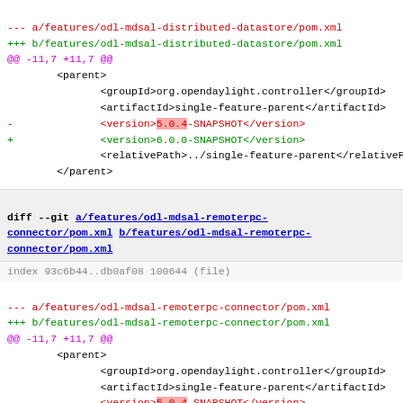--- a/features/odl-mdsal-distributed-datastore/pom.xml
+++ b/features/odl-mdsal-distributed-datastore/pom.xml
@@ -11,7 +11,7 @@
        <parent>
               <groupId>org.opendaylight.controller</groupId>
               <artifactId>single-feature-parent</artifactId>
-              <version>5.0.4-SNAPSHOT</version>
+              <version>6.0.0-SNAPSHOT</version>
               <relativePath>../single-feature-parent</relativePat
        </parent>
diff --git a/features/odl-mdsal-remoterpc-connector/pom.xml b/features/odl-mdsal-remoterpc-connector/pom.xml
index 93c6b44..db0af08 100644 (file)
--- a/features/odl-mdsal-remoterpc-connector/pom.xml
+++ b/features/odl-mdsal-remoterpc-connector/pom.xml
@@ -11,7 +11,7 @@
        <parent>
               <groupId>org.opendaylight.controller</groupId>
               <artifactId>single-feature-parent</artifactId>
-              <version>5.0.4-SNAPSHOT</version>
+              <version>6.0.0-SNAPSHOT</version>
               <relativePath>../single-feature-parent</relativePat
        </parent>
diff --git a/features/odl-toaster/pom.xml b/features/odl-toaster/pom.xml
index ab3ae58..a79345c 100644 (file)